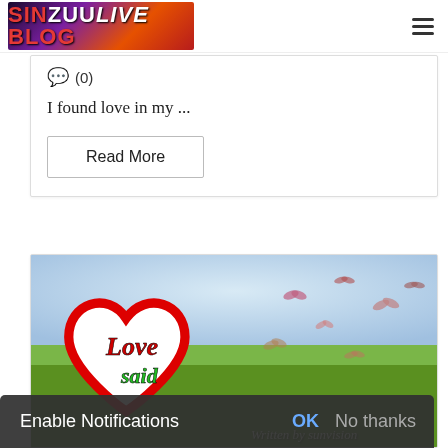[Figure (logo): Sinzuulive Blog logo with red and white text on dark background]
💬 (0)
I found love in my ...
Read More
[Figure (illustration): Blog post image showing a red heart outline with 'Love said' text inside, butterflies in background meadow scene, 'Written by sunvision' text at bottom right]
Enable Notifications  OK  No thanks